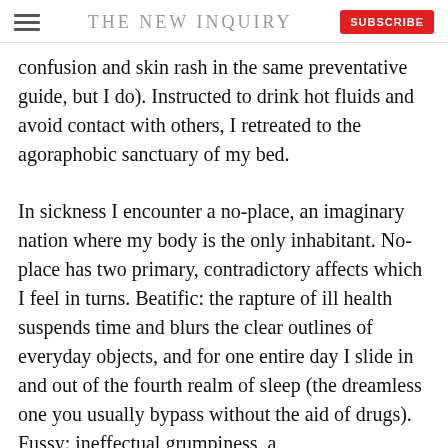THE NEW INQUIRY
confusion and skin rash in the same preventative guide, but I do). Instructed to drink hot fluids and avoid contact with others, I retreated to the agoraphobic sanctuary of my bed.
In sickness I encounter a no-place, an imaginary nation where my body is the only inhabitant. No-place has two primary, contradictory affects which I feel in turns. Beatific: the rapture of ill health suspends time and blurs the clear outlines of everyday objects, and for one entire day I slide in and out of the fourth realm of sleep (the dreamless one you usually bypass without the aid of drugs). Fussy: ineffectual grumpiness, a